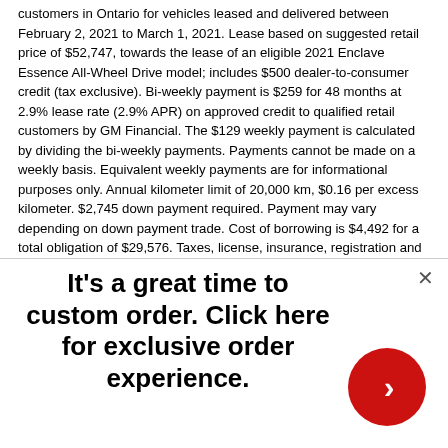customers in Ontario for vehicles leased and delivered between February 2, 2021 to March 1, 2021. Lease based on suggested retail price of $52,747, towards the lease of an eligible 2021 Enclave Essence All-Wheel Drive model; includes $500 dealer-to-consumer credit (tax exclusive). Bi-weekly payment is $259 for 48 months at 2.9% lease rate (2.9% APR) on approved credit to qualified retail customers by GM Financial. The $129 weekly payment is calculated by dividing the bi-weekly payments. Payments cannot be made on a weekly basis. Equivalent weekly payments are for informational purposes only. Annual kilometer limit of 20,000 km, $0.16 per excess kilometer. $2,745 down payment required. Payment may vary depending on down payment trade. Cost of borrowing is $4,492 for a total obligation of $29,576. Taxes, license, insurance, registration and applicable fees, levies, duties
It's a great time to custom order. Click here for exclusive order experience.